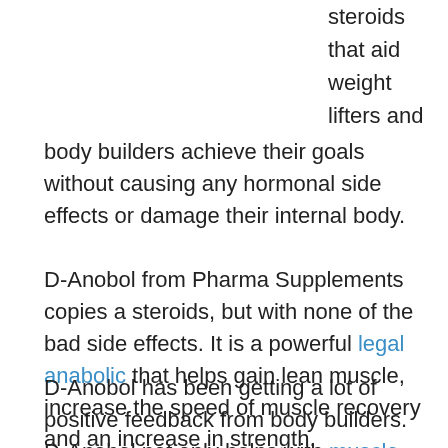steroids that aid weight lifters and body builders achieve their goals without causing any hormonal side effects or damage their internal body.
D-Anobol from Pharma Supplements copies a steroids, but with none of the bad side effects. It is a powerful legal anabolic that helps gain lean muscle, increase the speed of muscle recovery and an increase in strength.
D-Anobol has been getting a lot of positive feedback from body builders. D-Anobol not only helps with muscle gains, but increases the protein synthesis in the